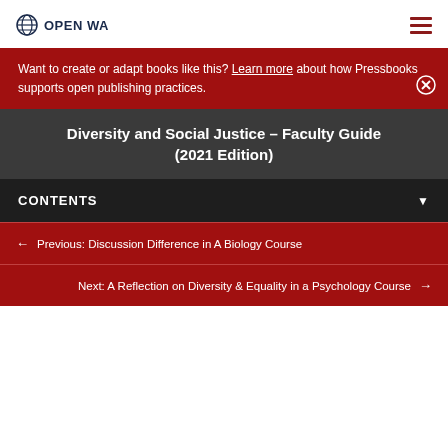OPEN WA
Want to create or adapt books like this? Learn more about how Pressbooks supports open publishing practices.
Diversity and Social Justice – Faculty Guide (2021 Edition)
CONTENTS
Previous: Discussion Difference in A Biology Course
Next: A Reflection on Diversity & Equality in a Psychology Course